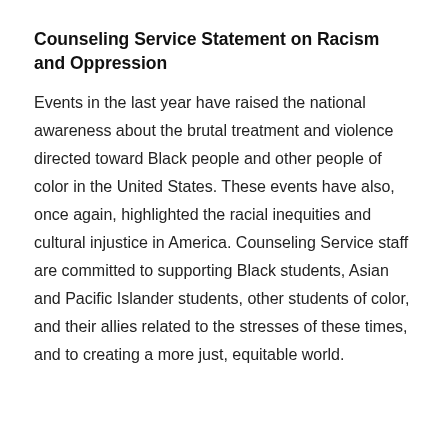Counseling Service Statement on Racism and Oppression
Events in the last year have raised the national awareness about the brutal treatment and violence directed toward Black people and other people of color in the United States. These events have also, once again, highlighted the racial inequities and cultural injustice in America. Counseling Service staff are committed to supporting Black students, Asian and Pacific Islander students, other students of color, and their allies related to the stresses of these times, and to creating a more just, equitable world.